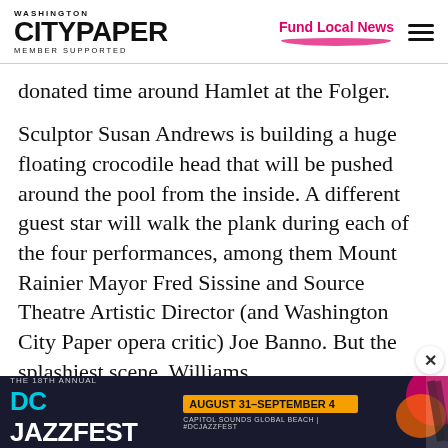WASHINGTON CITY PAPER MEMBER SUPPORTED | Fund Local News
donated time around Hamlet at the Folger.
Sculptor Susan Andrews is building a huge floating crocodile head that will be pushed around the pool from the inside. A different guest star will walk the plank during each of the four performances, among them Mount Rainier Mayor Fred Sissine and Source Theatre Artistic Director (and Washington City Paper opera critic) Joe Banno. But the splashiest scene, Williams
[Figure (screenshot): Advertisement banner for The 18th Annual DC Jazzfest, August 31–September 4, Capitol Sounds Global Beach #DCJAZZFEST]